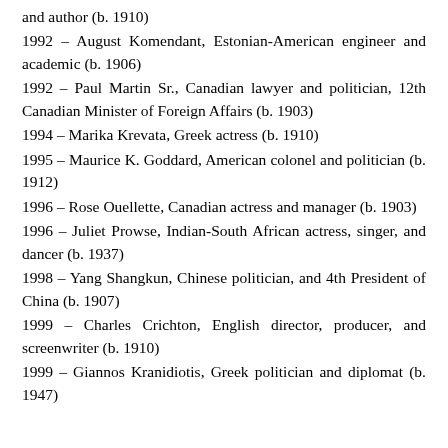and author (b. 1910)
1992 – August Komendant, Estonian-American engineer and academic (b. 1906)
1992 – Paul Martin Sr., Canadian lawyer and politician, 12th Canadian Minister of Foreign Affairs (b. 1903)
1994 – Marika Krevata, Greek actress (b. 1910)
1995 – Maurice K. Goddard, American colonel and politician (b. 1912)
1996 – Rose Ouellette, Canadian actress and manager (b. 1903)
1996 – Juliet Prowse, Indian-South African actress, singer, and dancer (b. 1937)
1998 – Yang Shangkun, Chinese politician, and 4th President of China (b. 1907)
1999 – Charles Crichton, English director, producer, and screenwriter (b. 1910)
1999 – Giannos Kranidiotis, Greek politician and diplomat (b. 1947)